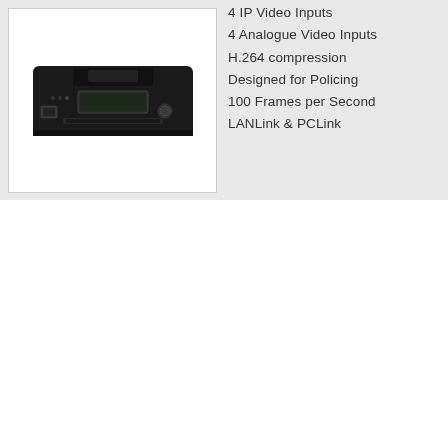[Figure (photo): Photo of a black digital video recorder unit with front panel showing display screen, buttons, and network port]
4 IP Video Inputs
4 Analogue Video Inputs
H.264 compression
Designed for Policing
100 Frames per Second
LANLink & PCLink